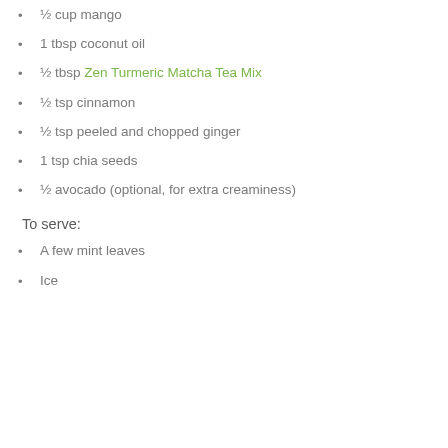½ cup mango
1 tbsp coconut oil
½ tbsp Zen Turmeric Matcha Tea Mix
½ tsp cinnamon
½ tsp peeled and chopped ginger
1 tsp chia seeds
½ avocado (optional, for extra creaminess)
To serve:
A few mint leaves
Ice